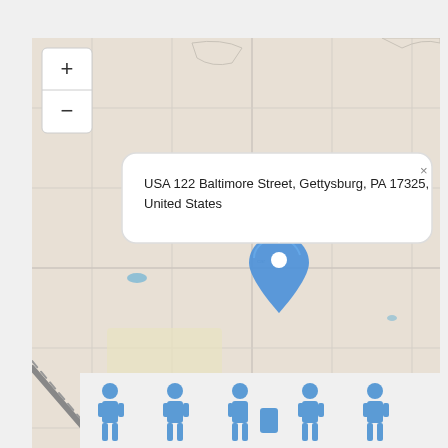[Figure (map): OpenStreetMap tile showing Gettysburg, PA area with a blue location pin marker at approximately center-right, zoom controls (+/-) at top-left, and a white popup tooltip reading 'USA 122 Baltimore Street, Gettysburg, PA 17325, United States'. Attribution reads 'Leaflet | © OpenStreetMap contributors' at bottom-right.]
[Figure (illustration): Row of blue silhouette human figures at the bottom of the page, partially cropped.]